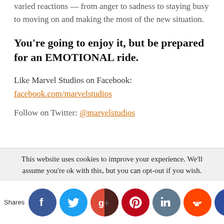varied reactions — from anger to sadness to staying busy to moving on and making the most of the new situation.
You're going to enjoy it, but be prepared for an EMOTIONAL ride.
Like Marvel Studios on Facebook:
facebook.com/marvelstudios
Follow on Twitter: @marvelstudios
This website uses cookies to improve your experience. We'll assume you're ok with this, but you can opt-out if you wish.
Shares